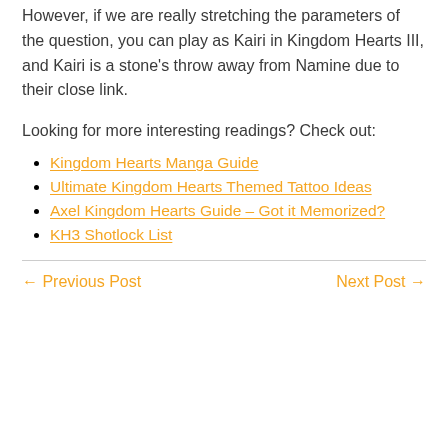However, if we are really stretching the parameters of the question, you can play as Kairi in Kingdom Hearts III, and Kairi is a stone's throw away from Namine due to their close link.
Looking for more interesting readings? Check out:
Kingdom Hearts Manga Guide
Ultimate Kingdom Hearts Themed Tattoo Ideas
Axel Kingdom Hearts Guide – Got it Memorized?
KH3 Shotlock List
← Previous Post    Next Post →